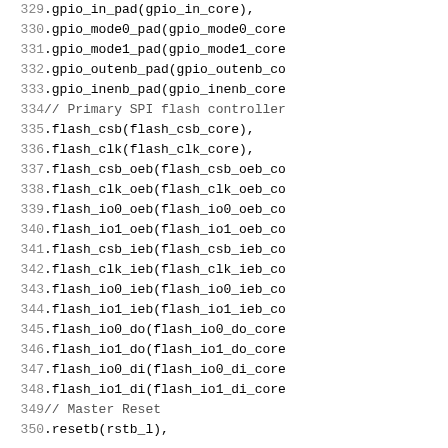Source code listing lines 329-350, Verilog/SystemVerilog hardware description language code showing GPIO and SPI flash controller port connections and a master reset signal.